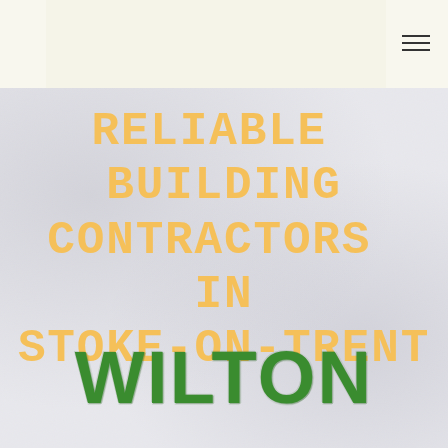[Figure (screenshot): Website header bar with light cream/yellow background and hamburger menu icon in top right]
RELIABLE BUILDING CONTRACTORS IN STOKE-ON-TRENT
WILTON